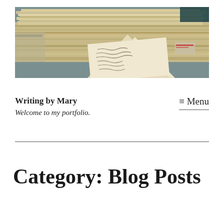[Figure (photo): Stack of old handwritten letters and envelopes piled on top of each other, with one letter open in the foreground showing cursive handwriting.]
Writing by Mary
Welcome to my portfolio.
≡ Menu
Category: Blog Posts